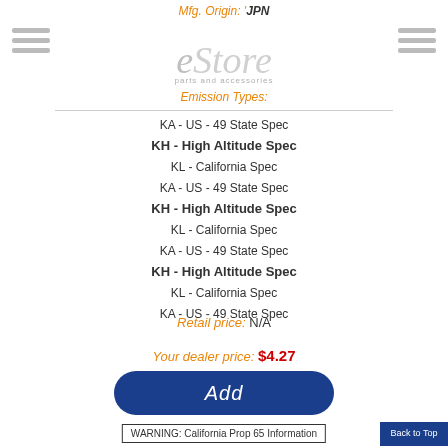Mfg. Origin: JPN
[Figure (logo): eStore parts and accessories logo]
Emission Types:
KA - US - 49 State Spec
KH - High Altitude Spec
KL - California Spec
KA - US - 49 State Spec
KH - High Altitude Spec
KL - California Spec
KA - US - 49 State Spec
KH - High Altitude Spec
KL - California Spec
KA - US - 49 State Spec
Retail price: N/A
Your dealer price: $4.27
Add
WARNING: California Prop 65 Information